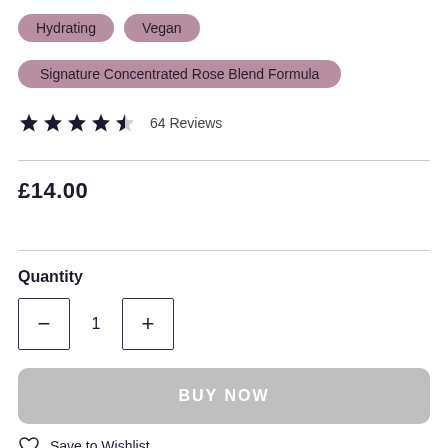Hydrating
Vegan
Signature Concentrated Rose Blend Formula
★★★★½  64 Reviews
£14.00
Quantity
1
BUY NOW
Save to Wishlist